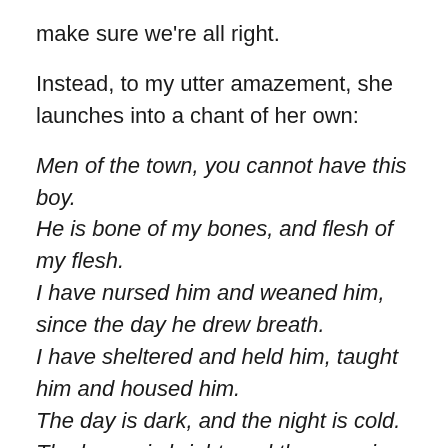make sure we're all right.
Instead, to my utter amazement, she launches into a chant of her own:
Men of the town, you cannot have this boy.
He is bone of my bones, and flesh of my flesh.
I have nursed him and weaned him, since the day he drew breath.
I have sheltered and held him, taught him and housed him.
The day is dark, and the night is cold.
The house is bright, and the room is warm.
Why on earth should I give you this boy?
At first I breathe a sigh of relief — though tinged with strange sadness — that my Mother will not give me up to the conditions. The children are not taken in to look for